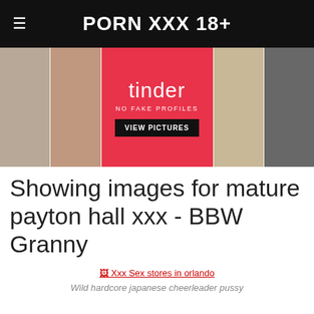PORN XXX 18+
[Figure (photo): Banner with adult content images and Tinder advertisement showing NO FAKE PROFILES and VIEW PICTURES]
Showing images for mature payton hall xxx - BBW Granny
Xxx Sex stores in orlando
Wild hardcore japanese cheerleader pussy
Sons and dads porn
[Figure (photo): Two adult content thumbnail images at bottom of page]